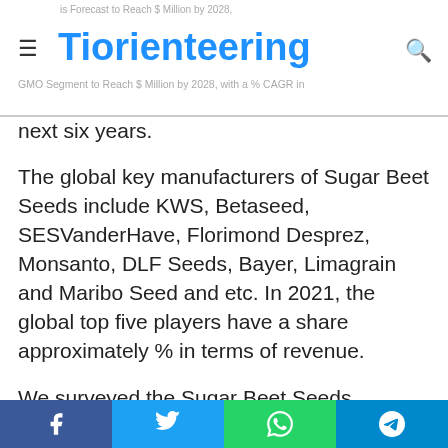Tiorienteering
next six years.
The global key manufacturers of Sugar Beet Seeds include KWS, Betaseed, SESVanderHave, Florimond Desprez, Monsanto, DLF Seeds, Bayer, Limagrain and Maribo Seed and etc. In 2021, the global top five players have a share approximately % in terms of revenue.
We surveyed the Sugar Beet Seeds manufacturers, suppliers, distributors and industry experts on this industry, involving the sales, revenue, demand, price change, product type, recent development and plan, industry trends, drivers, challenges, obstacles, and potential risks.